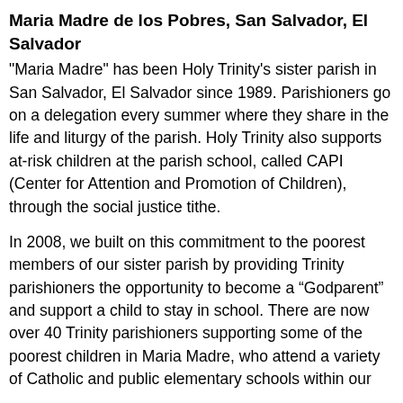Maria Madre de los Pobres, San Salvador, El Salvador
"Maria Madre" has been Holy Trinity's sister parish in San Salvador, El Salvador since 1989. Parishioners go on a delegation every summer where they share in the life and liturgy of the parish. Holy Trinity also supports at-risk children at the parish school, called CAPI (Center for Attention and Promotion of Children), through the social justice tithe.
In 2008, we built on this commitment to the poorest members of our sister parish by providing Trinity parishioners the opportunity to become a “Godparent” and support a child to stay in school. There are now over 40 Trinity parishioners supporting some of the poorest children in Maria Madre, who attend a variety of Catholic and public elementary schools within our